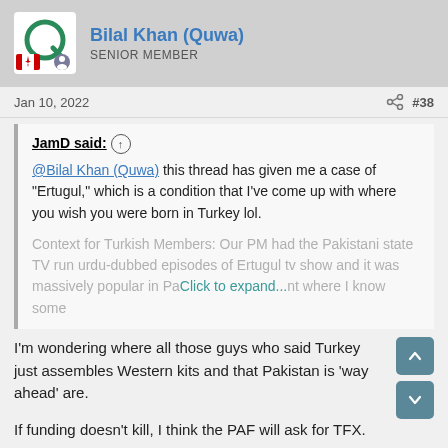Bilal Khan (Quwa) — SENIOR MEMBER
Jan 10, 2022   #38
JamD said: ↑
@Bilal Khan (Quwa) this thread has given me a case of "Ertugul," which is a condition that I've come up with where you wish you were born in Turkey lol.

Context for Turkish Members: Our PM had the Pakistani state TV run urdu-dubbed episodes of Ertugul tv show and it was massively popular in Pa... [Click to expand...] ...where I know some
I'm wondering where all those guys who said Turkey just assembles Western kits and that Pakistan is 'way ahead' are.
If funding doesn't kill, I think the PAF will ask for TFX.